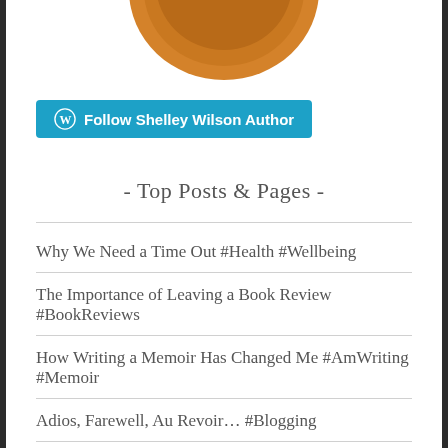[Figure (photo): Partial view of a circular coin or badge with amber/golden-orange color, cropped at the top]
Follow Shelley Wilson Author
- Top Posts & Pages -
Why We Need a Time Out #Health #Wellbeing
The Importance of Leaving a Book Review #BookReviews
How Writing a Memoir Has Changed Me #AmWriting #Memoir
Adios, Farewell, Au Revoir... #Blogging
Magical Mystery Tour: Part I #Travel #America